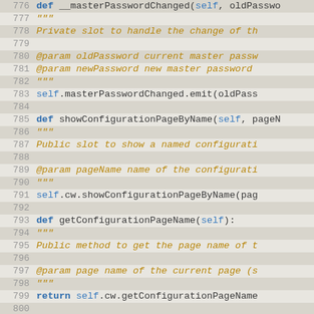[Figure (screenshot): Python source code listing showing lines 776-802, including method definitions for __masterPasswordChanged, showConfigurationPageByName, getConfigurationPageName, and setPreferences with docstrings and implementations.]